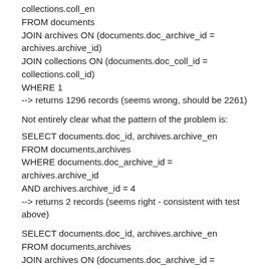collections.coll_en
FROM documents
JOIN archives ON (documents.doc_archive_id = archives.archive_id)
JOIN collections ON (documents.doc_coll_id = collections.coll_id)
WHERE 1
--> returns 1296 records (seems wrong, should be 2261)
Not entirely clear what the pattern of the problem is:
SELECT documents.doc_id, archives.archive_en
FROM documents,archives
WHERE documents.doc_archive_id = archives.archive_id
AND archives.archive_id = 4
--> returns 2 records (seems right - consistent with test above)
SELECT documents.doc_id, archives.archive_en
FROM documents,archives
JOIN archives ON (documents.doc_archive_id = archives.archive_id)
WHERE archives.archive_id = 4
--> returns ... (continues)